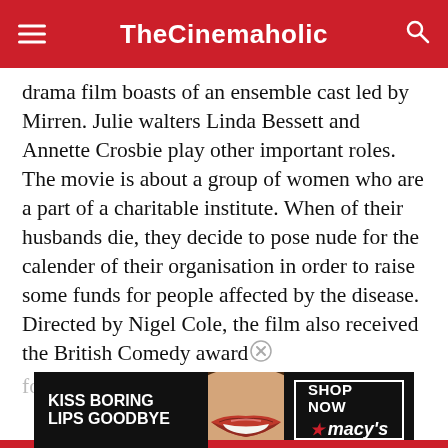TheCinemaholic
drama film boasts of an ensemble cast led by Mirren. Julie walters Linda Bessett and Annette Crosbie play other important roles. The movie is about a group of women who are a part of a charitable institute. When of their husbands die, they decide to pose nude for the calender of their organisation in order to raise some funds for people affected by the disease. Directed by Nigel Cole, the film also received the British Comedy award for Best comedy Film.
[Figure (photo): Advertisement banner: KISS BORING LIPS GOODBYE with image of red lips, SHOP NOW macy's logo on right side]